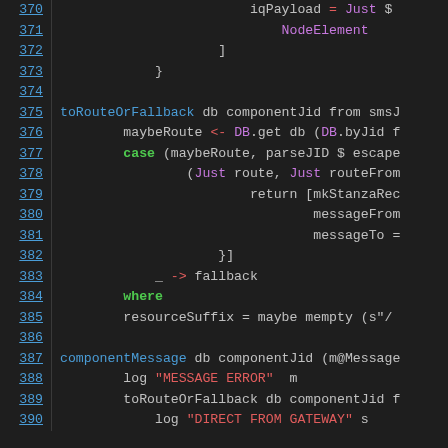[Figure (screenshot): Source code listing in a dark-themed code editor showing Haskell/functional code with syntax highlighting. Line numbers 370-390 on the left, code on the right with blue function names, green keywords, red strings and operators, and purple constructors.]